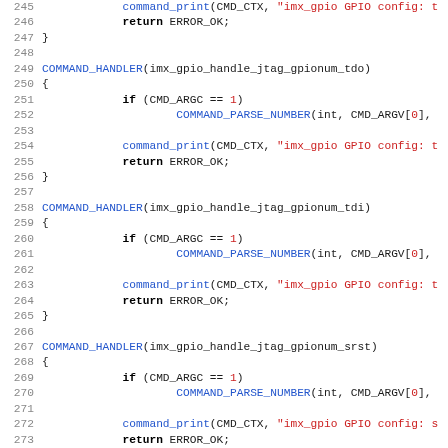[Figure (screenshot): Source code listing in C showing COMMAND_HANDLER functions for imx_gpio JTAG GPIO number handlers (tdo, tdi, srst, trst), lines 245-277, with syntax highlighting: blue for function/macro names, red for string literals, bold for keywords.]